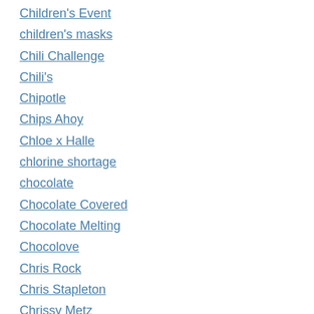Children's Event
children's masks
Chili Challenge
Chili's
Chipotle
Chips Ahoy
Chloe x Halle
chlorine shortage
chocolate
Chocolate Covered
Chocolate Melting
Chocolove
Chris Rock
Chris Stapleton
Chrissy Metz